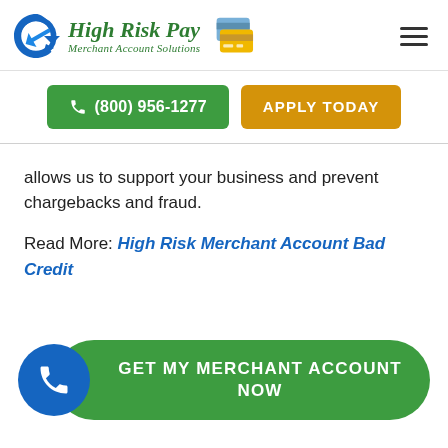[Figure (logo): High Risk Pay Merchant Account Solutions logo with blue arrow and credit card icon]
(800) 956-1277
APPLY TODAY
allows us to support your business and prevent chargebacks and fraud.
Read More: High Risk Merchant Account Bad Credit
GET MY MERCHANT ACCOUNT NOW